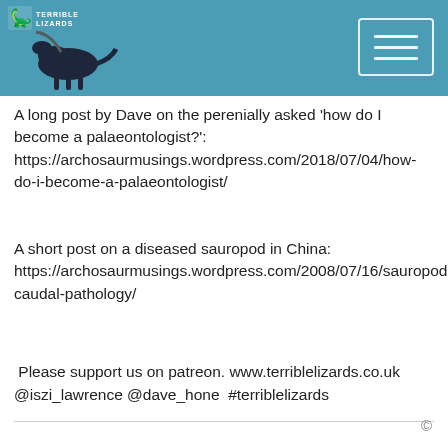Terrible Lizards podcast header with logo and navigation menu
A long post by Dave on the perenially asked 'how do I become a palaeontologist?': https://archosaurmusings.wordpress.com/2018/07/04/how-do-i-become-a-palaeontologist/
A short post on a diseased sauropod in China: https://archosaurmusings.wordpress.com/2008/07/16/sauropod-caudal-pathology/
Please support us on patreon. www.terriblelizards.co.uk @iszi_lawrence @dave_hone  #terriblelizards
©